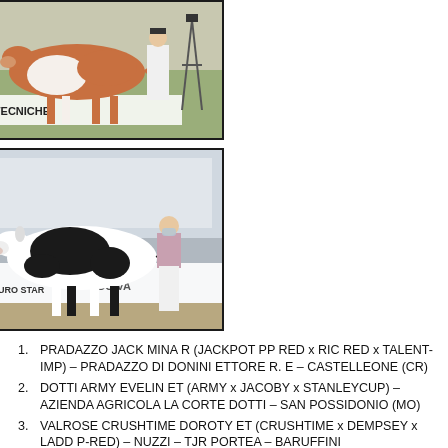[Figure (photo): A brown and white dairy cow being shown by a handler in white clothes at an agricultural fair. Background shows banners including 'ZOOTECNICHE'.]
[Figure (photo): A black and white Holstein dairy cow being shown by a masked handler in white trousers at an agricultural fair. Background shows 'EURO STAR' and 'CO...VA' banners.]
PRADAZZO JACK MINA R (JACKPOT PP RED x RIC RED x TALENT-IMP) – PRADAZZO DI DONINI ETTORE R. E – CASTELLEONE (CR)
DOTTI ARMY EVELIN ET (ARMY x JACOBY x STANLEYCUP) – AZIENDA AGRICOLA LA CORTE DOTTI – SAN POSSIDONIO (MO)
VALROSE CRUSHTIME DOROTY ET (CRUSHTIME x DEMPSEY x LADD P-RED) – NUZZI – TJR PORTEA – BARUFFINI